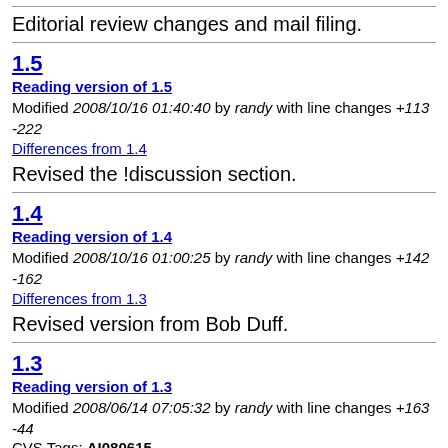Editorial review changes and mail filing.
1.5
Reading version of 1.5
Modified 2008/10/16 01:40:40 by randy with line changes +113 -222
Differences from 1.4
Revised the !discussion section.
1.4
Reading version of 1.4
Modified 2008/10/16 01:00:25 by randy with line changes +142 -162
Differences from 1.3
Revised version from Bob Duff.
1.3
Reading version of 1.3
Modified 2008/06/14 07:05:32 by randy with line changes +163 -44
CVS Tags: AI080615